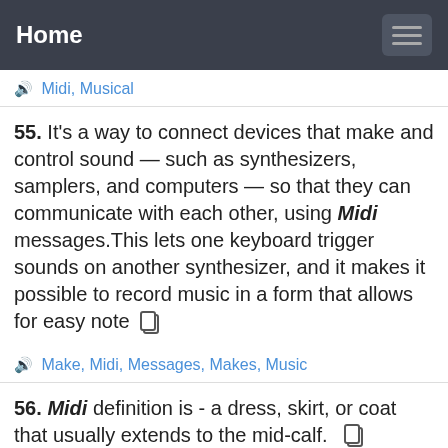Home
🔊 Midi, Musical
55. It's a way to connect devices that make and control sound — such as synthesizers, samplers, and computers — so that they can communicate with each other, using Midi messages.This lets one keyboard trigger sounds on another synthesizer, and it makes it possible to record music in a form that allows for easy note
🔊 Make, Midi, Messages, Makes, Music
56. Midi definition is - a dress, skirt, or coat that usually extends to the mid-calf.
🔊 Midi, Mid
57. Midi, short for Musical Instrument Digital Interface, is